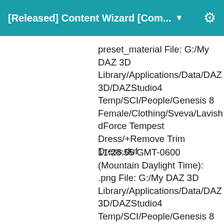[Released] Content Wizard [Com... ▼
preset_material File: G:/My DAZ 3D Library/Applications/Data/DAZ 3D/DAZStudio4 Temp/SCI/People/Genesis 8 Female/Clothing/Sveva/Lavish dForce Tempest Dress/+Remove Trim Dress.duf
11:28:55 GMT-0600 (Mountain Daylight Time): .png File: G:/My DAZ 3D Library/Applications/Data/DAZ 3D/DAZStudio4 Temp/SCI/People/Genesis 8 Female/Clothing/Sveva/Lavish dForce Tempest Dress/+Remove Trim